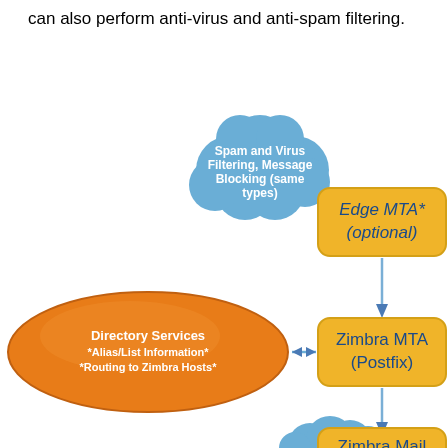can also perform anti-virus and anti-spam filtering.
[Figure (flowchart): Flowchart showing email routing: Spam and Virus Filtering/Message Blocking cloud node connects to Edge MTA* (optional) yellow box, which connects via arrow down to Zimbra MTA (Postfix) yellow box. Directory Services orange ellipse connects bidirectionally to Zimbra MTA. Zimbra MTA connects via arrow down to Zimbra Mail Server yellow box with cloud behind it.]